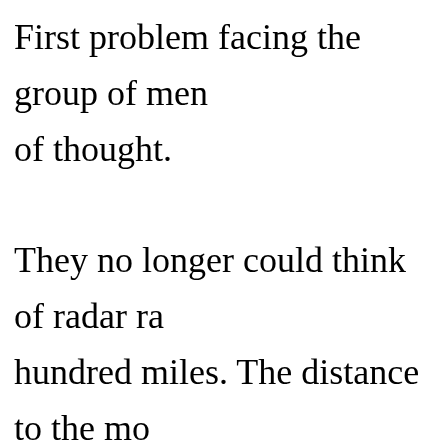First problem facing the group of men of thought. They no longer could think of radar ra hundred miles. The distance to the mo miles. But this figure varies from day revolves and moves in an elliptical orb both the earth and the moon move aro A staff of mathematicians and physicis computing the trend in relationship be